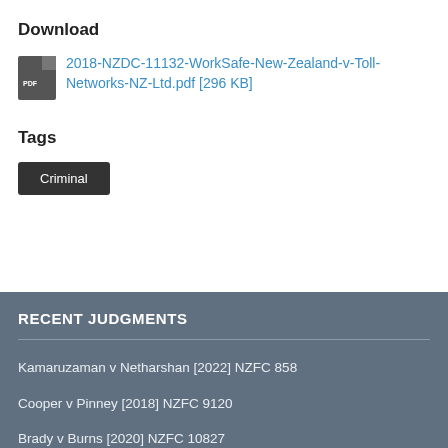Download
2018-NZDC-11132-WorkSafe-New-Zealand-v-Toll-Networks-NZ-Ltd.pdf [296 KB]
Tags
Criminal
RECENT JUDGMENTS
Kamaruzaman v Netharshan [2022] NZFC 858
Cooper v Pinney [2018] NZFC 9120
Brady v Burns [2020] NZFC 10827